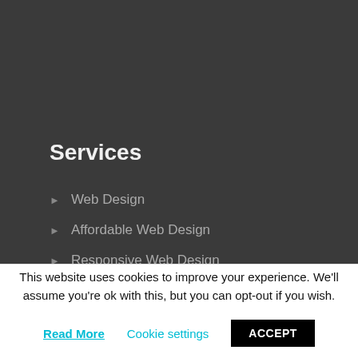Services
Web Design
Affordable Web Design
Responsive Web Design
CMS Website Design
Outsource to Us
This website uses cookies to improve your experience. We'll assume you're ok with this, but you can opt-out if you wish.
Read More   Cookie settings   ACCEPT